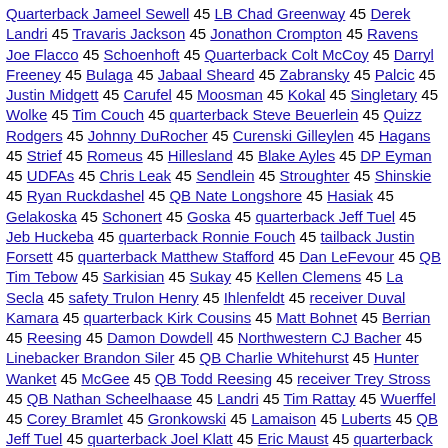Quarterback Jameel Sewell 45 LB Chad Greenway 45 Derek Landri 45 Travaris Jackson 45 Jonathon Crompton 45 Ravens Joe Flacco 45 Schoenhoft 45 Quarterback Colt McCoy 45 Darryl Freeney 45 Bulaga 45 Jabaal Sheard 45 Zabransky 45 Palcic 45 Justin Midgett 45 Carufel 45 Moosman 45 Kokal 45 Singletary 45 Wolke 45 Tim Couch 45 quarterback Steve Beuerlein 45 Quizz Rodgers 45 Johnny DuRocher 45 Curenski Gilleylen 45 Hagans 45 Strief 45 Romeus 45 Hillesland 45 Blake Ayles 45 DP Eyman 45 UDFAs 45 Chris Leak 45 Sendlein 45 Stroughter 45 Shinskie 45 Ryan Ruckdashel 45 QB Nate Longshore 45 Hasiak 45 Gelakoska 45 Schonert 45 Goska 45 quarterback Jeff Tuel 45 Jeb Huckeba 45 quarterback Ronnie Fouch 45 tailback Justin Forsett 45 quarterback Matthew Stafford 45 Dan LeFevour 45 QB Tim Tebow 45 Sarkisian 45 Sukay 45 Kellen Clemens 45 La Secla 45 safety Trulon Henry 45 Ihlenfeldt 45 receiver Duval Kamara 45 quarterback Kirk Cousins 45 Matt Bohnet 45 Berrian 45 Reesing 45 Damon Dowdell 45 Northwestern CJ Bacher 45 Linebacker Brandon Siler 45 QB Charlie Whitehurst 45 Hunter Wanket 45 McGee 45 QB Todd Reesing 45 receiver Trey Stross 45 QB Nathan Scheelhaase 45 Landri 45 Tim Rattay 45 Wuerffel 45 Corey Bramlet 45 Gronkowski 45 Lamaison 45 Luberts 45 QB Jeff Tuel 45 quarterback Joel Klatt 45 Eric Maust 45 quarterback Ryan Nassib 44 Mauk 44 LSU JaMarcus Russell 44 Haudan 44 McGarigle 44 Pouncey 44 Verica 44 Quarterback Steven Threet 44 LeVoir 44 Birdine 44 Azzanni 44 Stuglis 44 Richard Brehaut 44 PJ